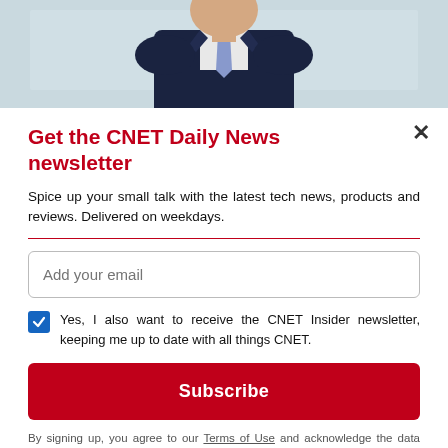[Figure (photo): Partial photo of a person in a navy business suit and tie, cropped at chest level, with a light background.]
Get the CNET Daily News newsletter
Spice up your small talk with the latest tech news, products and reviews. Delivered on weekdays.
Add your email
Yes, I also want to receive the CNET Insider newsletter, keeping me up to date with all things CNET.
Subscribe
By signing up, you agree to our Terms of Use and acknowledge the data practices in our Privacy Policy. You may unsubscribe at any time.